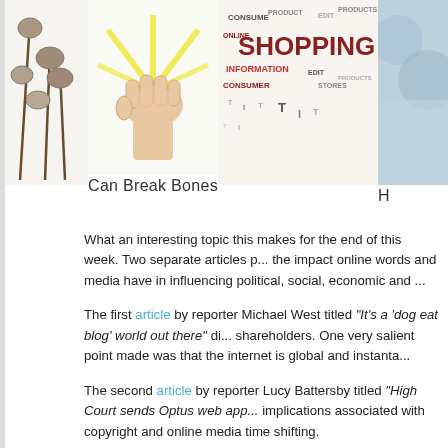[Figure (illustration): Top banner showing three partial images: stones/pebbles on sticks illustration on left, a fist/hand with light rays (breaking bones) in center with caption 'Can Break Bones', and a shopping word cloud on right, plus partial blue image on far right cut off]
Can Break Bones
What an interesting topic this makes for the end of this week. Two separate articles p... the impact online words and media have in influencing political, social, economic and ...
The first article by reporter Michael West titled "It's a 'dog eat blog' world out there" di... shareholders. One very salient point made was that the internet is global and instanta...
The second article by reporter Lucy Battersby titled "High Court sends Optus web app... implications associated with copyright and online media time shifting.
Whilst both articles are separate in nature, I feel they both touch base with just how d... media communications can be for the courts, members of parliament (MPs), consume... online media communications purportedly infringing rights and freedoms and on the o... disseminate information to the masses.
Good thought provoking points are raised in both articles. Is it appropriate to have onl... freedom of speech too restrictive in Australia? Do governments fear the ease, access... on the internet to voice our ideas?